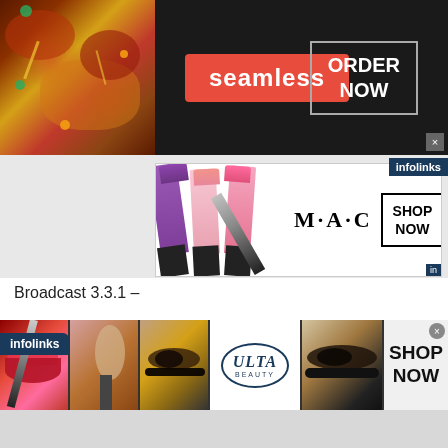[Figure (illustration): Seamless food delivery ad banner with pizza image on left, red Seamless logo in center, ORDER NOW button in white border on right, dark background]
[Figure (illustration): MAC cosmetics ad with lipsticks in purple, pink, and red, MAC logo, SHOP NOW button, infolinks badge]
Broadcast 3.3.1 –
BusCompressor 3.3.1 multi-band compressor – high-quality, transparent dynamic processor with custom knee and auto-release, suitable for processing individual tracks, as well as complex mixes.
[Figure (illustration): Infolinks bottom ad strip with beauty product images including lips, makeup brush, eye makeup, ULTA Beauty logo, eye makeup closeup, and SHOP NOW button]